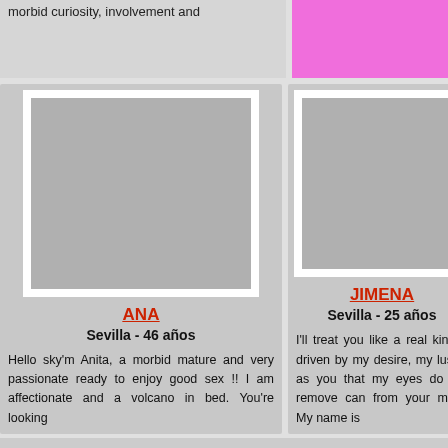morbid curiosity, involvement and
[Figure (illustration): Pink/magenta colored rectangle placeholder]
[Figure (photo): Gray photo placeholder for ANA]
ANA
Sevilla - 46 años
Hello sky'm Anita, a morbid mature and very passionate ready to enjoy good sex !! I am affectionate and a volcano in bed. You're looking
[Figure (photo): Gray photo placeholder for JIMENA]
JIMENA
Sevilla - 25 años
I'll treat you like a real king. I driven by my desire, my lust. I as you that my eyes do not remove can from your mind. My name is